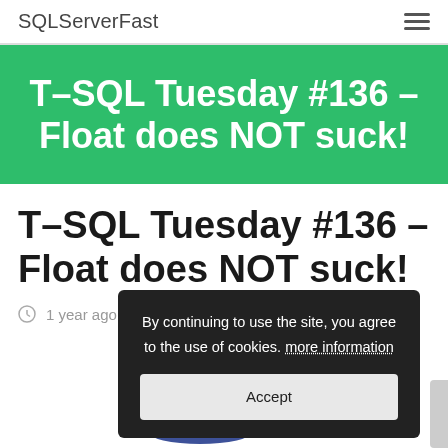SQLServerFast
[Figure (other): Green banner background with bold white text: T-SQL Tuesday #136 – Float does NOT suck!]
T-SQL Tuesday #136 – Float does NOT suck!
1 year ago
By continuing to use the site, you agree to the use of cookies. more information
Accept